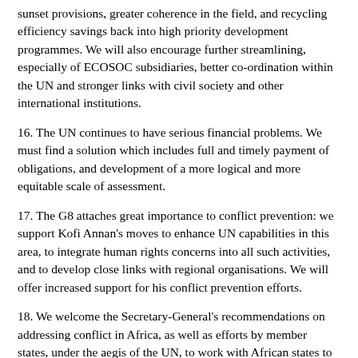sunset provisions, greater coherence in the field, and recycling efficiency savings back into high priority development programmes. We will also encourage further streamlining, especially of ECOSOC subsidiaries, better co-ordination within the UN and stronger links with civil society and other international institutions.
16. The UN continues to have serious financial problems. We must find a solution which includes full and timely payment of obligations, and development of a more logical and more equitable scale of assessment.
17. The G8 attaches great importance to conflict prevention: we support Kofi Annan's moves to enhance UN capabilities in this area, to integrate human rights concerns into all such activities, and to develop close links with regional organisations. We will offer increased support for his conflict prevention efforts.
18. We welcome the Secretary-General's recommendations on addressing conflict in Africa, as well as efforts by member states, under the aegis of the UN, to work with African states to enhance their peacekeeping capacity and expand the role of the Organisation for African Unity and African subregional organisations in the prevention, management and resolution of conflicts, within the context of the UN Charter. We reaffirm the importance of the UN's coordinating role in decisions to...